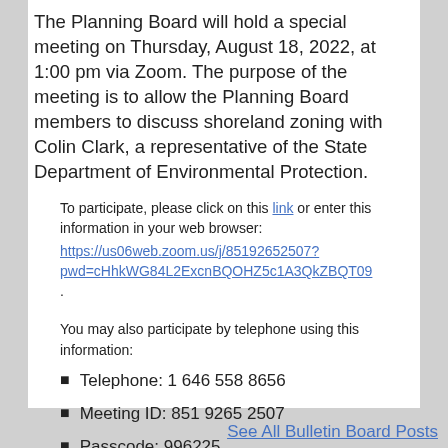The Planning Board will hold a special meeting on Thursday, August 18, 2022, at 1:00 pm via Zoom. The purpose of the meeting is to allow the Planning Board members to discuss shoreland zoning with Colin Clark, a representative of the State Department of Environmental Protection.
To participate, please click on this link or enter this information in your web browser: https://us06web.zoom.us/j/85192652507?pwd=cHhkWG84L2ExcnBQOHZ5c1A3QkZBQT09.
You may also participate by telephone using this information:
Telephone: 1 646 558 8656
Meeting ID: 851 9265 2507
Passcode: 996225
We look forward to everyone's participation.
See All Bulletin Board Posts